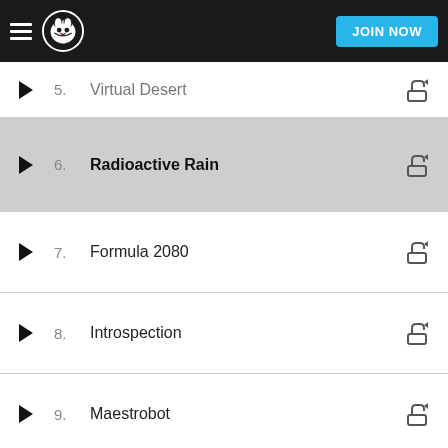Napster — JOIN NOW
5. Virtual Desert
6. Radioactive Rain
7. Formula 2080
8. Introspection
9. Maestrobot